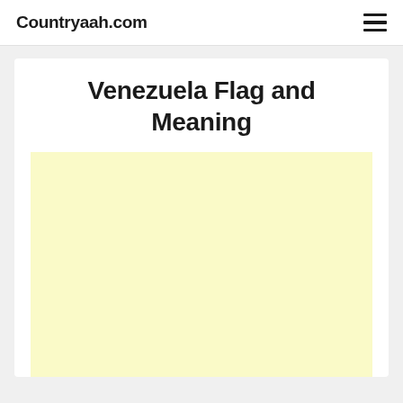Countryaah.com
Venezuela Flag and Meaning
[Figure (other): Advertisement placeholder block with pale yellow background]